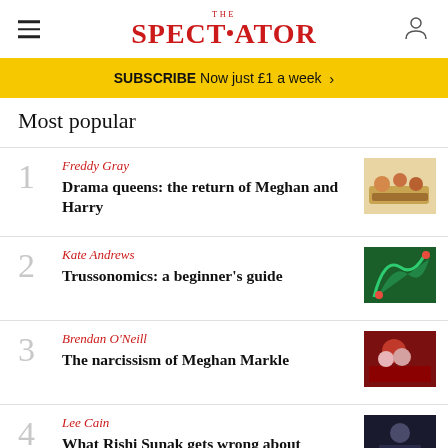The Spectator
SUBSCRIBE Now just £1 a week >
Most popular
1 Freddy Gray
Drama queens: the return of Meghan and Harry
2 Kate Andrews
Trussonomics: a beginner's guide
3 Brendan O'Neill
The narcissism of Meghan Markle
4 Lee Cain
What Rishi Sunak gets wrong about